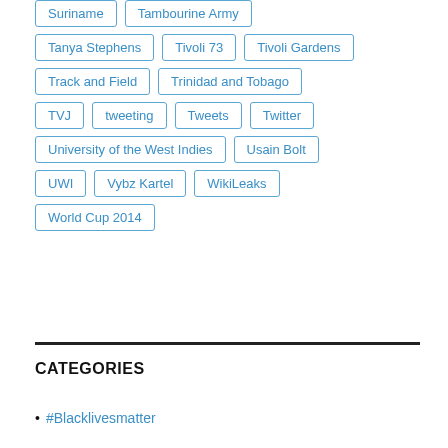Suriname
Tambourine Army
Tanya Stephens
Tivoli 73
Tivoli Gardens
Track and Field
Trinidad and Tobago
TVJ
tweeting
Tweets
Twitter
University of the West Indies
Usain Bolt
UWI
Vybz Kartel
WikiLeaks
World Cup 2014
CATEGORIES
#Blacklivesmatter